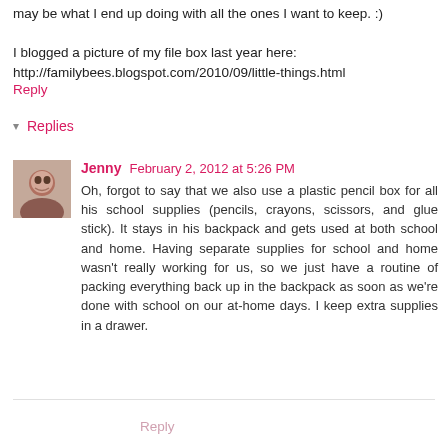may be what I end up doing with all the ones I want to keep. :)
I blogged a picture of my file box last year here: http://familybees.blogspot.com/2010/09/little-things.html
Reply
▾ Replies
Jenny  February 2, 2012 at 5:26 PM
Oh, forgot to say that we also use a plastic pencil box for all his school supplies (pencils, crayons, scissors, and glue stick). It stays in his backpack and gets used at both school and home. Having separate supplies for school and home wasn't really working for us, so we just have a routine of packing everything back up in the backpack as soon as we're done with school on our at-home days. I keep extra supplies in a drawer.
Reply